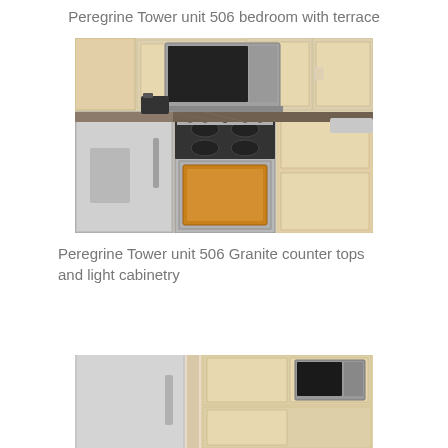Peregrine Tower unit 506 bedroom with terrace
[Figure (photo): Kitchen photo showing stainless steel refrigerator on the left, over-the-range microwave, electric range/stove with black cooktop, light wood cabinetry, granite countertops, Keurig coffee maker, and partial view of sink area on the right.]
Peregrine Tower unit 506 Granite counter tops and light cabinetry
[Figure (photo): Partial view of kitchen showing stainless steel refrigerator on the left and microwave/appliances on the right with light wood cabinetry.]